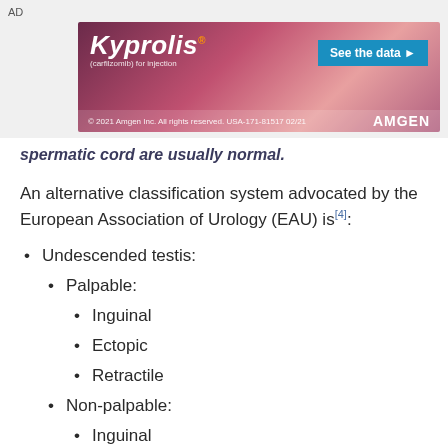[Figure (advertisement): Kyprolis (carfilzomib) advertisement banner by Amgen with pink/purple forest background. Shows brand name, 'See the data' button, and copyright notice '© 2021 Amgen Inc. All rights reserved. USA-171-81517 02/21 AMGEN']
spermatic cord are usually normal.
An alternative classification system advocated by the European Association of Urology (EAU) is[4]:
Undescended testis:
Palpable:
Inguinal
Ectopic
Retractile
Non-palpable:
Inguinal